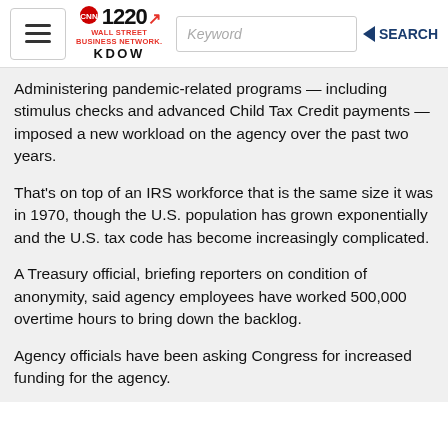1220 WALL STREET BUSINESS NETWORK KDOW
Administering pandemic-related programs — including stimulus checks and advanced Child Tax Credit payments — imposed a new workload on the agency over the past two years.
That's on top of an IRS workforce that is the same size it was in 1970, though the U.S. population has grown exponentially and the U.S. tax code has become increasingly complicated.
A Treasury official, briefing reporters on condition of anonymity, said agency employees have worked 500,000 overtime hours to bring down the backlog.
Agency officials have been asking Congress for increased funding for the agency.